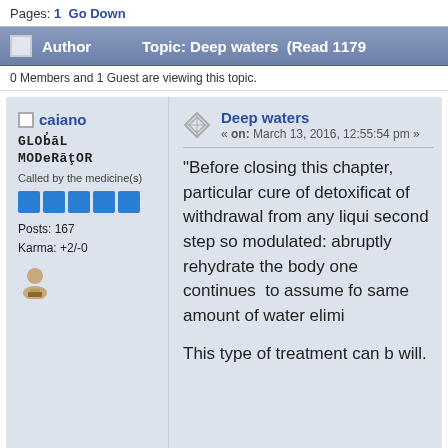Pages: 1  Go Down
Author   Topic: Deep waters  (Read 1179
0 Members and 1 Guest are viewing this topic.
caiano
GLOBAL MODERATOR
Called by the medicine(s)
Posts: 167
Karma: +2/-0
Deep waters
« on: March 13, 2016, 12:55:54 pm »

"Before closing this chapter, particular cure of detoxification of withdrawal from any liquids second step so modulated: abruptly rehydrate the body one continues  to assume fo same amount of water elimi

This type of treatment can b will.